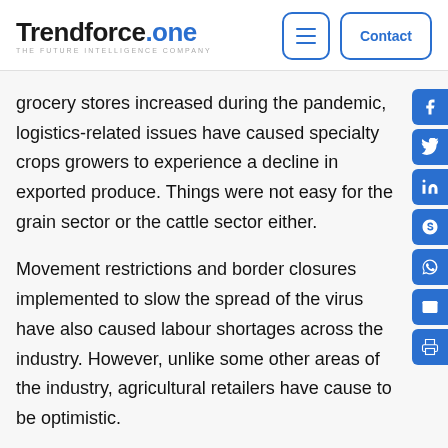Trendforce.one — THE FUTURE INTELLIGENCE COMPANY
grocery stores increased during the pandemic, logistics-related issues have caused specialty crops growers to experience a decline in exported produce. Things were not easy for the grain sector or the cattle sector either.
Movement restrictions and border closures implemented to slow the spread of the virus have also caused labour shortages across the industry. However, unlike some other areas of the industry, agricultural retailers have cause to be optimistic.